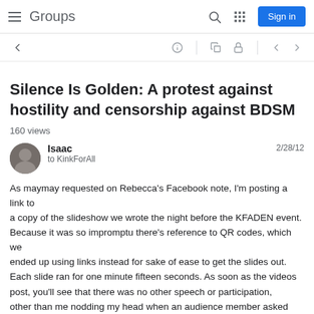Groups | Sign in
Silence Is Golden: A protest against hostility and censorship against BDSM
160 views
Isaac
to KinkForAll
2/28/12
As maymay requested on Rebecca's Facebook note, I'm posting a link to a copy of the slideshow we wrote the night before the KFADEN event. Because it was so impromptu there's reference to QR codes, which we ended up using links instead for sake of ease to get the slides out. Each slide ran for one minute fifteen seconds. As soon as the videos post, you'll see that there was no other speech or participation, other than me nodding my head when an audience member asked if it was...